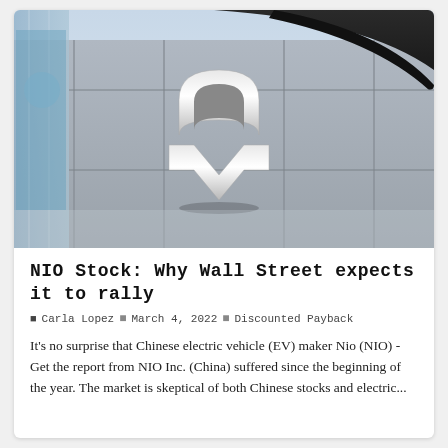[Figure (photo): Photograph of the NIO logo (a stylized chrome 'N' emblem) mounted on the exterior facade of a building with glass windows and a curved dark canopy. The background is a light blue sky.]
NIO Stock: Why Wall Street expects it to rally
Carla Lopez  March 4, 2022  Discounted Payback
It's no surprise that Chinese electric vehicle (EV) maker Nio (NIO) - Get the report from NIO Inc. (China) suffered since the beginning of the year. The market is skeptical of both Chinese stocks and electric...